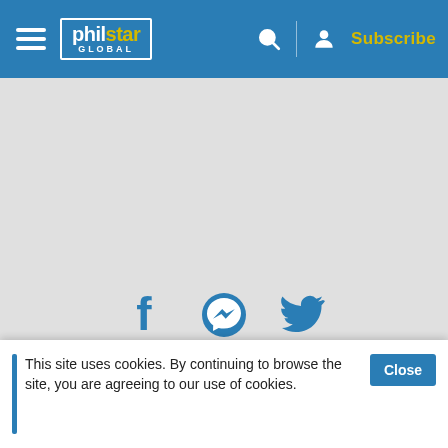philstar GLOBAL — Subscribe
[Figure (other): Gray advertisement/content placeholder area]
[Figure (other): Social sharing icons: Facebook, Messenger, Twitter]
BAGONG BUHAY REHABILITATION CENTER
BARANGAY LOREGA-SAN MIGUEL
BARANGAY SAMBAG
BEBELYN RULLAN
CEBU CITY
CEBU CITY ASSISTANT PROSECUTOR HECTOR LAPORTE
This site uses cookies. By continuing to browse the site, you are agreeing to our use of cookies.